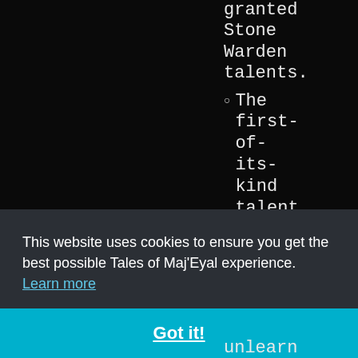granted Stone Warden talents.
The first-of-its-kind talent you yourself learn
This website uses cookies to ensure you get the best possible Tales of Maj'Eyal experience. Learn more
Got it!
unlearn